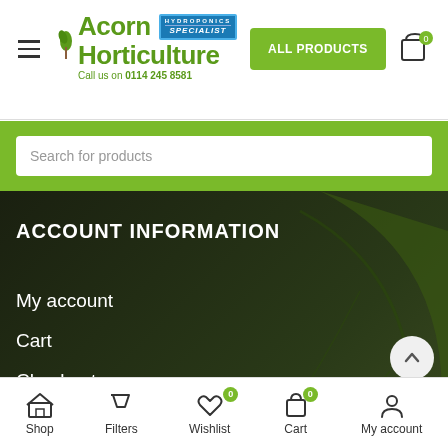[Figure (logo): Acorn Horticulture logo with Hydroponics Specialist badge and phone number Call us on 0114 245 8581]
ALL PRODUCTS
Search for products
ACCOUNT INFORMATION
My account
Cart
Checkout
Track Orders
[Figure (screenshot): Dark green leaf background image]
Shop   Filters   Wishlist 0   Cart 0   My account